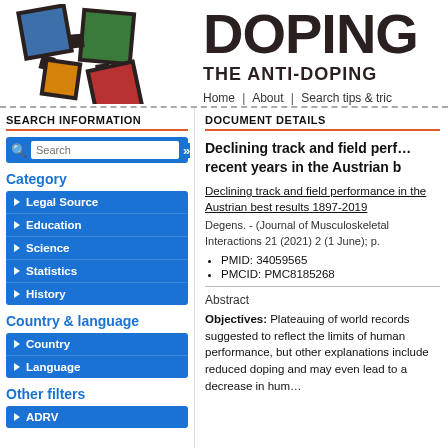[Figure (logo): Colorful interconnected squares logo for a doping/anti-doping database website]
DOPING
THE ANTI-DOPING
Home | About | Search tips & tric
SEARCH INFORMATION
DOCUMENT DETAILS
Legal Source
Education
Science
Statistics
History
Category
Country & language
Country
Language
Other filters
ADRV
Declining track and field performance in recent years in the Austrian b
Declining track and field performance in the Austrian best results 1897-2019
Degens. - (Journal of Musculoskeletal Interactions 21 (2021) 2 (1 June); p.
PMID: 34059565
PMCID: PMC8185268
Abstract
Objectives: Plateauing of world records suggested to reflect the limits of human performance, but other explanations include reduced doping and may even lead to a decrease in human performance.